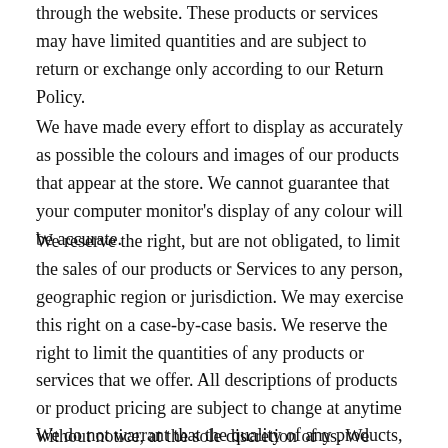through the website. These products or services may have limited quantities and are subject to return or exchange only according to our Return Policy.
We have made every effort to display as accurately as possible the colours and images of our products that appear at the store. We cannot guarantee that your computer monitor's display of any colour will be accurate.
We reserve the right, but are not obligated, to limit the sales of our products or Services to any person, geographic region or jurisdiction. We may exercise this right on a case-by-case basis. We reserve the right to limit the quantities of any products or services that we offer. All descriptions of products or product pricing are subject to change at anytime without notice, at the sole discretion of us. We reserve the right to discontinue any product at any time. Any offer for any product or service made on this site is void where prohibited.
We do not warrant that the quality of any products, services,